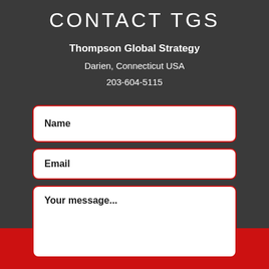CONTACT TGS
Thompson Global Strategy
Darien, Connecticut USA
203-604-5115
Name
Email
Your message...